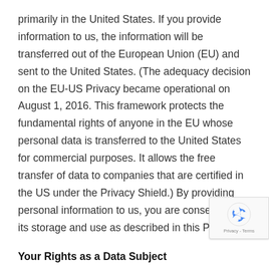primarily in the United States. If you provide information to us, the information will be transferred out of the European Union (EU) and sent to the United States. (The adequacy decision on the EU-US Privacy became operational on August 1, 2016. This framework protects the fundamental rights of anyone in the EU whose personal data is transferred to the United States for commercial purposes. It allows the free transfer of data to companies that are certified in the US under the Privacy Shield.) By providing personal information to us, you are consenting to its storage and use as described in this Policy.
Your Rights as a Data Subject
Under the regulations of the General Data Protection
[Figure (other): reCAPTCHA badge with recycling arrows icon and Privacy - Terms text]